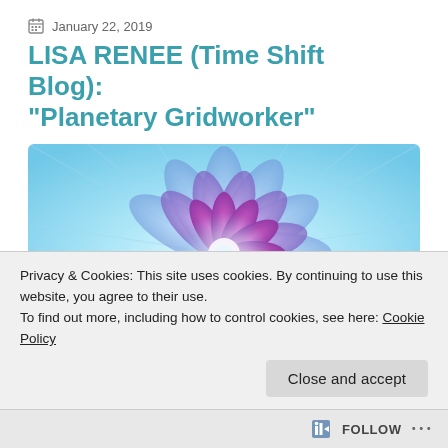January 22, 2019
LISA RENEE (Time Shift Blog): “Planetary Gridworker”
[Figure (illustration): Colorful mandala/lotus flower illustration with purple, pink, blue and teal petals radiating outward on a light blue background with radial light rays]
Privacy & Cookies: This site uses cookies. By continuing to use this website, you agree to their use.
To find out more, including how to control cookies, see here: Cookie Policy
Follow ...